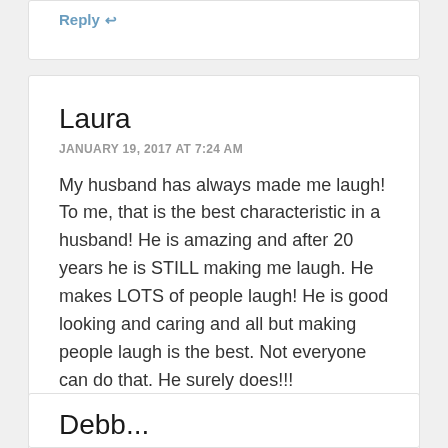Reply ↩
Laura
JANUARY 19, 2017 AT 7:24 AM
My husband has always made me laugh! To me, that is the best characteristic in a husband! He is amazing and after 20 years he is STILL making me laugh. He makes LOTS of people laugh! He is good looking and caring and all but making people laugh is the best. Not everyone can do that. He surely does!!!
Reply ↩
Debb...